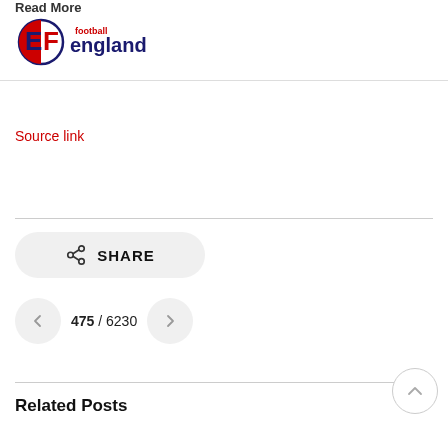Read More
[Figure (logo): Football England logo with stylized 'EF' letters in red and navy blue, followed by 'football england' text]
Source link
[Figure (other): SHARE button with share icon]
475 / 6230
Related Posts